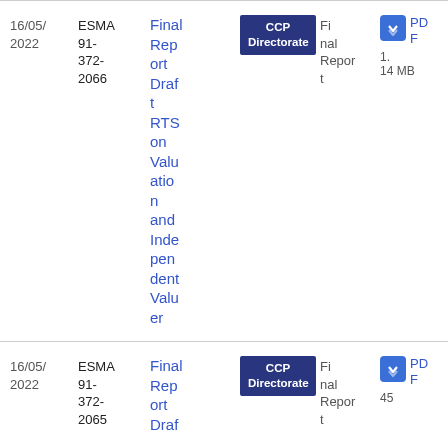| Date | Reference | Title | Directorate | Type | Download |
| --- | --- | --- | --- | --- | --- |
| 16/05/2022 | ESMA 91-372-2066 | Final Report Draft RTS on Valuation and Independent Valuer | CCP Directorate | Final Report | PDF 1.14 MB |
| 16/05/2022 | ESMA 91-372-2065 | Final Report Draf... | CCP Directorate | Final Report | PDF 45... |